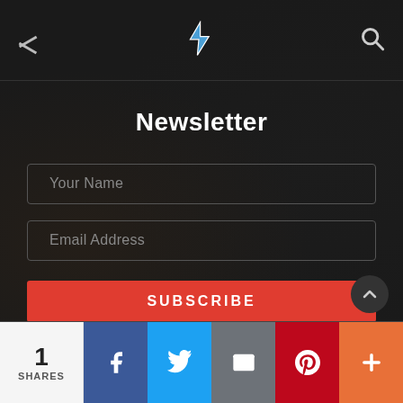[Figure (screenshot): Navigation bar with hamburger menu icon (diagonal lines), lightning bolt logo in blue/white, and search icon]
Newsletter
Your Name
Email Address
SUBSCRIBE
[Figure (illustration): Scroll-to-top button (dark circle with upward chevron)]
1 SHARES
[Figure (illustration): Social share bar: Facebook (f), Twitter (bird), Email (envelope), Pinterest (P), More (+)]